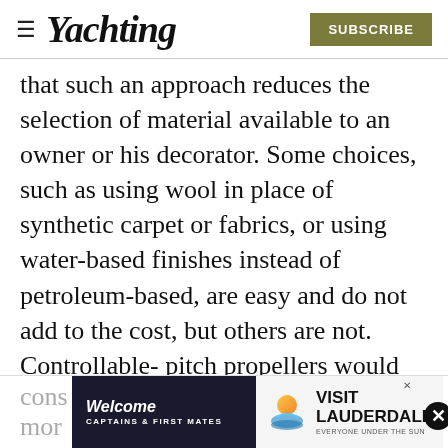Yachting | SUBSCRIBE
that such an approach reduces the selection of material available to an owner or his decorator. Some choices, such as using wool in place of synthetic carpet or fabrics, or using water-based finishes instead of petroleum-based, are easy and do not add to the cost, but others are not. Controllable- pitch propellers would be suitable for many yachts, he suggests, but there is an added cost in both cons[truction] ... [e of] mor[e]
[Figure (screenshot): Advertisement banner: 'Welcome Captains & First Mates' with Visit Lauderdale logo, with a close (x) button and a black circle X button on the right.]